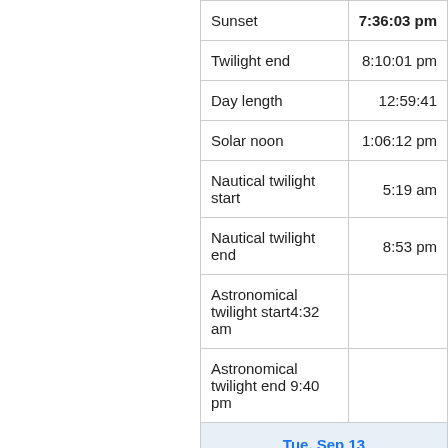| Event | Time |
| --- | --- |
| Sunset | 7:36:03 pm |
| Twilight end | 8:10:01 pm |
| Day length | 12:59:41 |
| Solar noon | 1:06:12 pm |
| Nautical twilight start | 5:19 am |
| Nautical twilight end | 8:53 pm |
| Astronomical twilight start | 4:32 am |
| Astronomical twilight end | 9:40 pm |
Tue, Sep 13
[Figure (screenshot): Advertisement banner with store features: In-store shopping, Curbside pickup, Delivery checkmarks, logo, navigation arrow icon, play and close buttons]